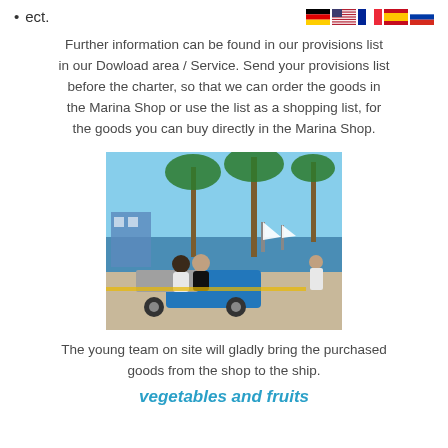ect.
Further information can be found in our provisions list in our Dowload area / Service. Send your provisions list before the charter, so that we can order the goods in the Marina Shop or use the list as a shopping list, for the goods you can buy directly in the Marina Shop.
[Figure (photo): People riding a blue electric cart/golf cart at a marina with palm trees, sailboats and blue water in the background.]
The young team on site will gladly bring the purchased goods from the shop to the ship.
vegetables and fruits